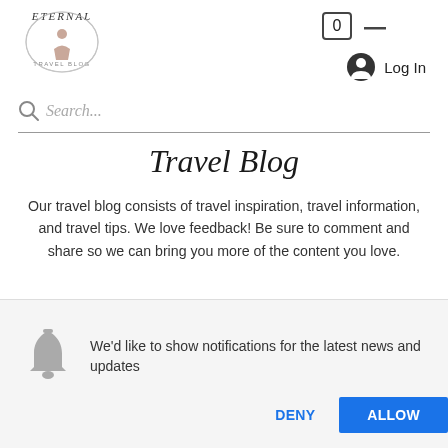[Figure (logo): Eternal Travel Blog circular logo with illustrated figure and text]
[Figure (illustration): Shopping cart icon with number 0]
[Figure (illustration): User account circle icon with Log In text]
Search...
Travel Blog
Our travel blog consists of travel inspiration, travel information, and travel tips. We love feedback! Be sure to comment and share so we can bring you more of the content you love.
Subscribe To Receive Updates From Our Blog
[Figure (illustration): Bell notification icon]
We'd like to show notifications for the latest news and updates
DENY
ALLOW